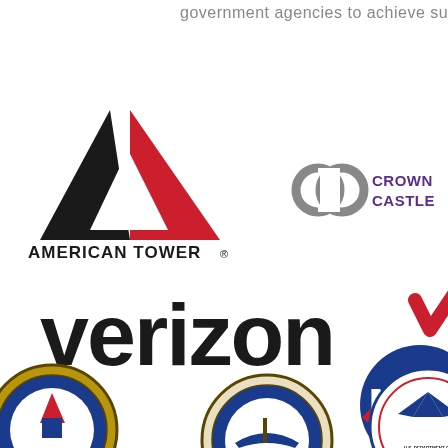government agencies to achieve succ...
[Figure (logo): American Tower logo with black and red triangular mountain shape above the text AMERICAN TOWER with registered trademark symbol]
[Figure (logo): Crown Castle logo with two overlapping gray C shapes and text CROWN CASTLE in purple]
[Figure (logo): Verizon logo in dark charcoal lowercase text with a red checkmark]
[Figure (logo): NASA logo - blue circular badge partially visible on right edge]
[Figure (logo): Department of the Army seal - circular gold and blue emblem partially visible at bottom left]
[Figure (logo): Department of the Navy seal - circular emblem partially visible at bottom center]
[Figure (logo): U.S. Department of Homeland Security seal partially visible at bottom right]